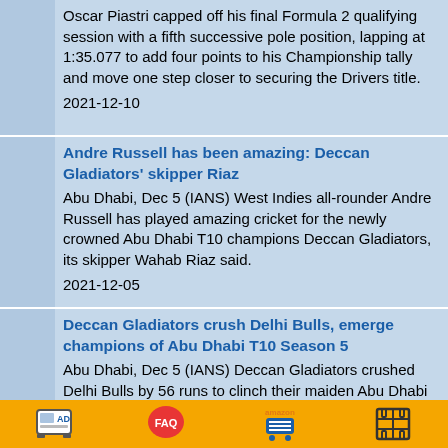Oscar Piastri capped off his final Formula 2 qualifying session with a fifth successive pole position, lapping at 1:35.077 to add four points to his Championship tally and move one step closer to securing the Drivers title.
2021-12-10
Andre Russell has been amazing: Deccan Gladiators' skipper Riaz
Abu Dhabi, Dec 5 (IANS) West Indies all-rounder Andre Russell has played amazing cricket for the newly crowned Abu Dhabi T10 champions Deccan Gladiators, its skipper Wahab Riaz said.
2021-12-05
Deccan Gladiators crush Delhi Bulls, emerge champions of Abu Dhabi T10 Season 5
Abu Dhabi, Dec 5 (IANS) Deccan Gladiators crushed Delhi Bulls by 56 runs to clinch their maiden Abu Dhabi T10 title, with opening batters Andre Russell and Tom Kohler-Cadmore putting up an unmatched batting display to take the winners to an imposing 150